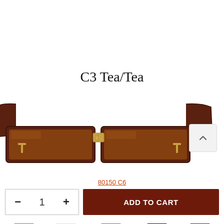C3 Tea/Tea
[Figure (photo): Brown/tea colored rectangular sunglasses with gold bridge hardware, viewed from above showing frames and arms folded back. Product code 80150 C6.]
80150 C6
[Figure (infographic): E-commerce product page controls: quantity selector showing minus, 1, plus buttons and an ADD TO CART button]
[Figure (infographic): Category navigation icons row: Pendant, Bracelet, Jewelry set, Necklace, Rings]